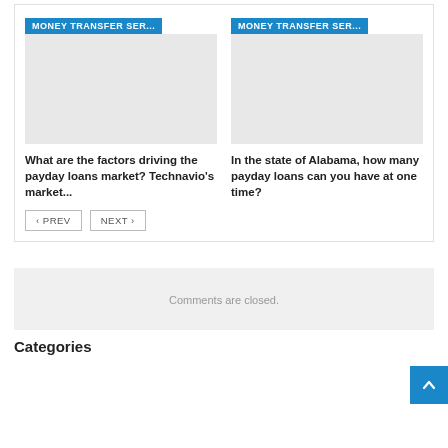[Figure (other): Card image placeholder for money transfer service article 1]
MONEY TRANSFER SER...
What are the factors driving the payday loans market? Technavio's market...
[Figure (other): Card image placeholder for money transfer service article 2]
MONEY TRANSFER SER...
In the state of Alabama, how many payday loans can you have at one time?
‹ PREV   NEXT ›
Comments are closed.
Categories